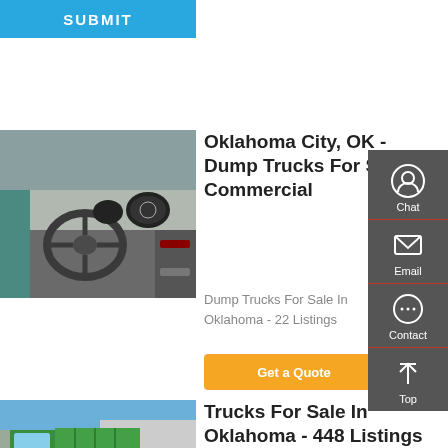[Figure (screenshot): Blue SUBMIT button at top left]
[Figure (photo): Interior of truck cab showing steering wheel and dashboard]
Oklahoma City, OK - Dump Trucks For Sale - Commercial
Dump Trucks For Sale In Oklahoma - 22 Listings
[Figure (screenshot): Orange Get a Quote button]
[Figure (photo): Green dump truck parked outdoors]
Trucks For Sale In Oklahoma - 448 Listings |